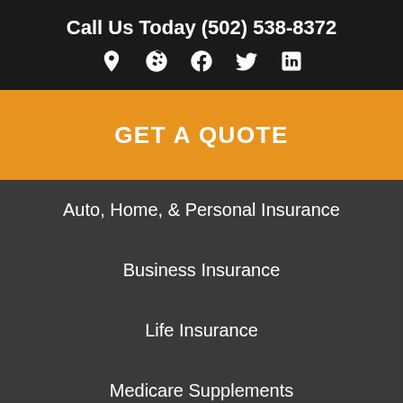Call Us Today (502) 538-8372
[Figure (infographic): Social media icons row: location pin, Yelp, Facebook, Twitter, LinkedIn]
GET A QUOTE
Auto, Home, & Personal Insurance
Business Insurance
Life Insurance
Medicare Supplements